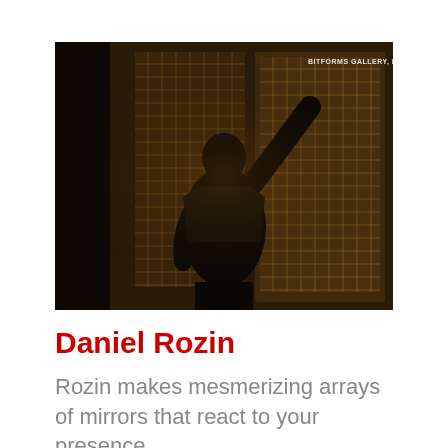[Figure (photo): A person seen from behind, wearing a black t-shirt, reaching up to touch a large grid-like wall of small square wooden or metallic tiles arranged in a mosaic pattern. The image is dark and dramatic with warm amber/golden tones. A watermark in the upper right reads 'BITFORMS GALLERY, NEW YORK'.]
Daniel Rozin
Rozin makes mesmerizing arrays of mirrors that react to your presence.